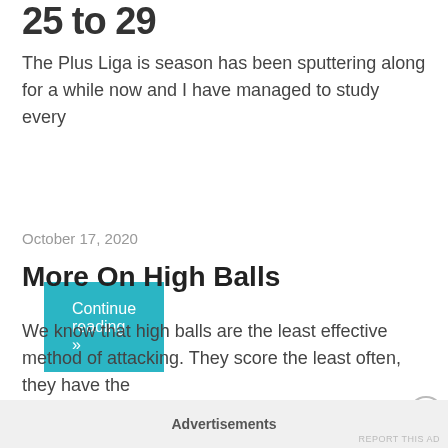25 to 29
The Plus Liga is season has been sputtering along for a while now and I have managed to study every
Continue reading »
October 17, 2020
More On High Balls
We know that high balls are the least effective method of attacking. They score the least often, they have the
Continue reading »
Advertisements
REPORT THIS AD